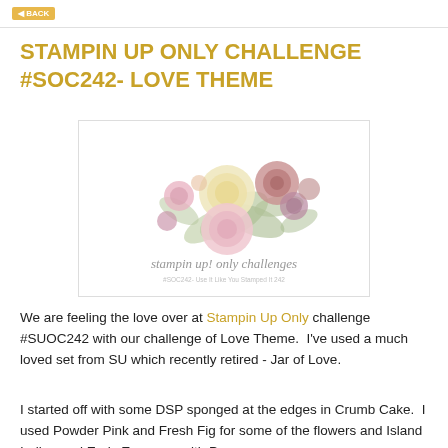[button]
STAMPIN UP ONLY CHALLENGE #SOC242- LOVE THEME
[Figure (illustration): Watercolor floral bouquet with pink, mauve, cream, and dusty rose flowers with green leaves. Below the flowers, cursive script text reads 'stampin up! only challenges' with smaller text beneath.]
We are feeling the love over at Stampin Up Only challenge #SUOC242 with our challenge of Love Theme.  I've used a much loved set from SU which recently retired - Jar of Love.
I started off with some DSP sponged at the edges in Crumb Cake.  I used Powder Pink and Fresh Fig for some of the flowers and Island Indigo and Early Espresso with Pear...